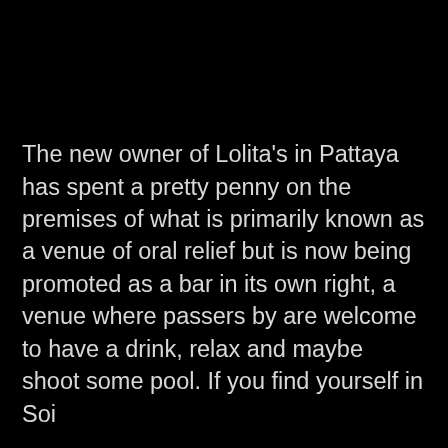[Figure (photo): Large black area occupying the upper portion of the page, likely a dark photograph or image with no visible detail.]
The new owner of Lolita's in Pattaya has spent a pretty penny on the premises of what is primarily known as a venue of oral relief but is now being promoted as a bar in its own right, a venue where passers by are welcome to have a drink, relax and maybe shoot some pool. If you find yourself in Soi